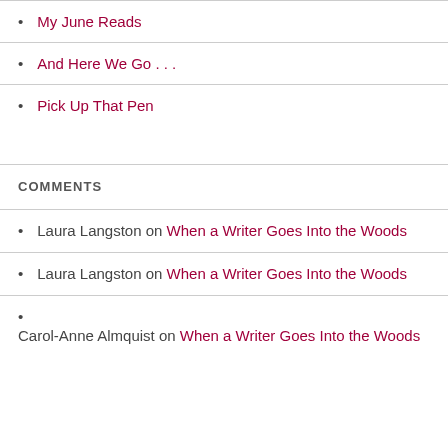My June Reads
And Here We Go . . .
Pick Up That Pen
COMMENTS
Laura Langston on When a Writer Goes Into the Woods
Laura Langston on When a Writer Goes Into the Woods
Carol-Anne Almquist on When a Writer Goes Into the Woods